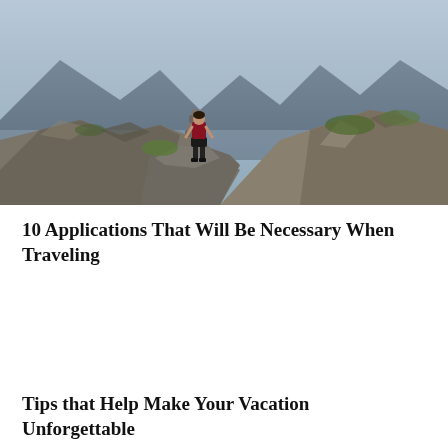[Figure (photo): A hiker standing on a rocky mountain peak, viewed from behind, wearing shorts and a backpack. The landscape shows rugged rocky terrain with mountains and valley in the background.]
10 Applications That Will Be Necessary When Traveling
Tips that Help Make Your Vacation Unforgettable